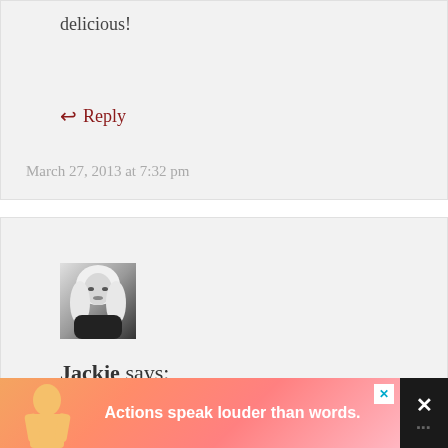delicious!
↩ Reply
March 27, 2013 at 7:32 pm
[Figure (photo): Black and white portrait photo of a blonde woman (user avatar for Jackie)]
Jackie says:
[Figure (infographic): Advertisement banner: silhouette of a person with text 'Actions speak louder than words.' on a pink/orange gradient background, with a close button and dark sidebar with X mark]